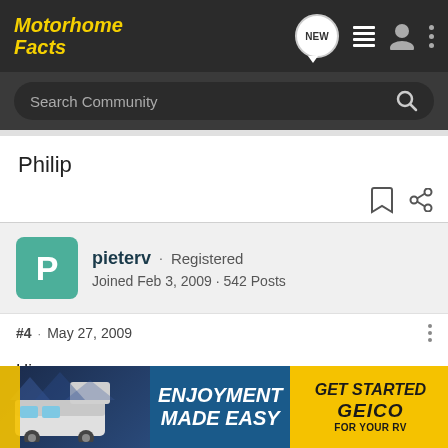Motorhome Facts
Search Community
Philip
pieterv · Registered
Joined Feb 3, 2009 · 542 Posts
#4 · May 27, 2009
Hi,

We have a B544, which has a different lay out, so won't comme...
[Figure (photo): GEICO RV advertisement banner: 'ENJOYMENT MADE EASY' with 'GET STARTED GEICO FOR YOUR RV' on yellow background, motorhome image on dark blue background]